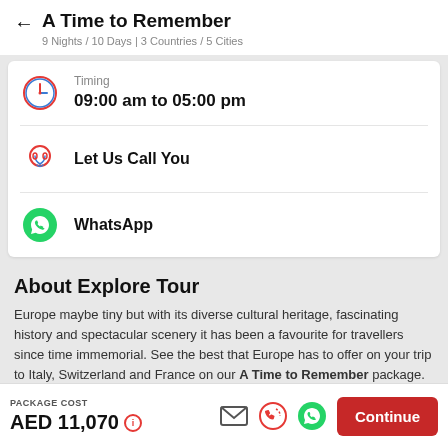A Time to Remember
9 Nights / 10 Days | 3 Countries / 5 Cities
Timing
09:00 am to 05:00 pm
Let Us Call You
WhatsApp
About Explore Tour
Europe maybe tiny but with its diverse cultural heritage, fascinating history and spectacular scenery it has been a favourite for travellers since time immemorial. See the best that Europe has to offer on your trip to Italy, Switzerland and France on our A Time to Remember package.
PACKAGE COST
AED 11,070
Continue